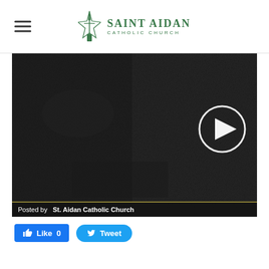Saint Aidan Catholic Church
[Figure (screenshot): Dark video thumbnail with a play button circle on the right side, with footer text 'Posted by St. Aidan Catholic Church']
Posted by St. Aidan Catholic Church
Like 0   Tweet